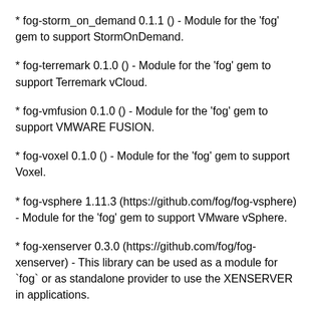* fog-storm_on_demand 0.1.1 () - Module for the 'fog' gem to support StormOnDemand.
* fog-terremark 0.1.0 () - Module for the 'fog' gem to support Terremark vCloud.
* fog-vmfusion 0.1.0 () - Module for the 'fog' gem to support VMWARE FUSION.
* fog-voxel 0.1.0 () - Module for the 'fog' gem to support Voxel.
* fog-vsphere 1.11.3 (https://github.com/fog/fog-vsphere) - Module for the 'fog' gem to support VMware vSphere.
* fog-xenserver 0.3.0 (https://github.com/fog/fog-xenserver) - This library can be used as a module for `fog` or as standalone provider to use the XENSERVER in applications.
* fog-xml 0.1.3 (https://github.com/fog/fog-xml) - XML parsing for fog providers